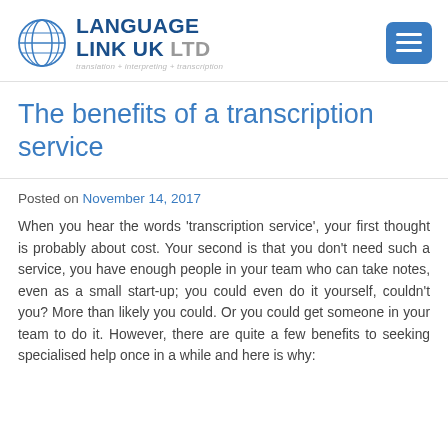LANGUAGE LINK UK LTD — translation + interpreting + transcription
The benefits of a transcription service
Posted on November 14, 2017
When you hear the words 'transcription service', your first thought is probably about cost. Your second is that you don't need such a service, you have enough people in your team who can take notes, even as a small start-up; you could even do it yourself, couldn't you? More than likely you could. Or you could get someone in your team to do it. However, there are quite a few benefits to seeking specialised help once in a while and here is why: